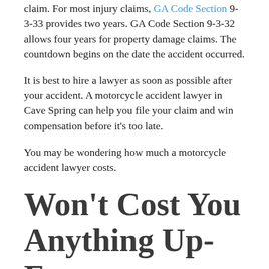claim. For most injury claims, GA Code Section 9-3-33 provides two years. GA Code Section 9-3-32 allows four years for property damage claims. The countdown begins on the date the accident occurred.
It is best to hire a lawyer as soon as possible after your accident. A motorcycle accident lawyer in Cave Spring can help you file your claim and win compensation before it’s too late.
You may be wondering how much a motorcycle accident lawyer costs.
Won’t Cost You Anything Up-Front
At The Mabra Firm, we never ask injured victims to pay any fees up-front. We believe that you should get legal help when you need it, regardless of your financial